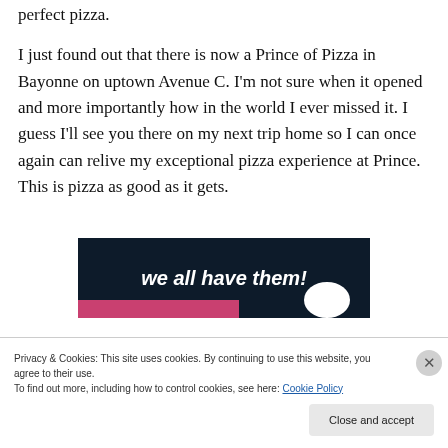perfect pizza. I just found out that there is now a Prince of Pizza in Bayonne on uptown Avenue C. I'm not sure when it opened and more importantly how in the world I ever missed it. I guess I'll see you there on my next trip home so I can once again can relive my exceptional pizza experience at Prince. This is pizza as good as it gets.
[Figure (other): Dark navy banner with bold italic white text reading 'we all have them!' with a pink bar at bottom left and a partial white circle at bottom right]
Privacy & Cookies: This site uses cookies. By continuing to use this website, you agree to their use.
To find out more, including how to control cookies, see here: Cookie Policy